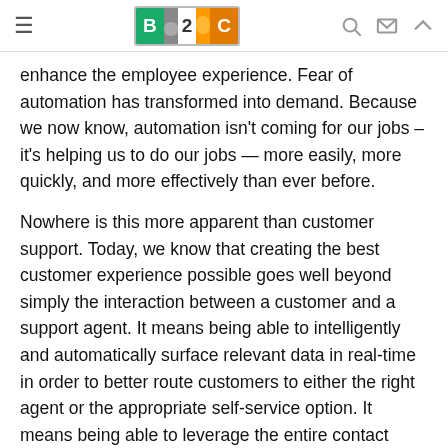B2C logo with navigation icons
enhance the employee experience. Fear of automation has transformed into demand. Because we now know, automation isn't coming for our jobs – it's helping us to do our jobs — more easily, more quickly, and more effectively than ever before.
Nowhere is this more apparent than customer support. Today, we know that creating the best customer experience possible goes well beyond simply the interaction between a customer and a support agent. It means being able to intelligently and automatically surface relevant data in real-time in order to better route customers to either the right agent or the appropriate self-service option. It means being able to leverage the entire contact center ecosystem by connecting numerous tools and technologies in order to